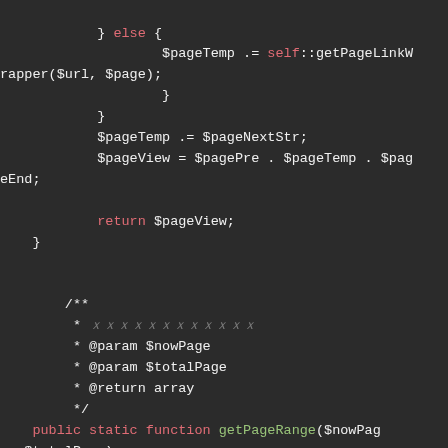[Figure (screenshot): PHP source code snippet on dark background showing else block, page view construction, return statement, PHPDoc comment block, and public static function getPageRange declaration with $returnArray initialization]